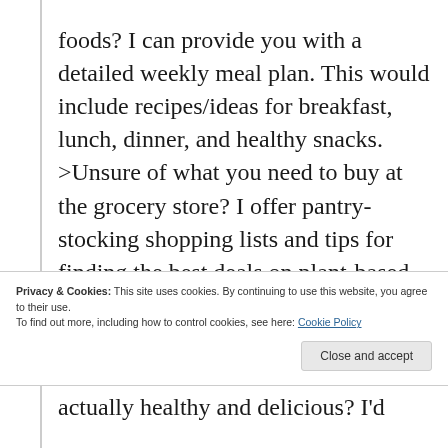foods? I can provide you with a detailed weekly meal plan. This would include recipes/ideas for breakfast, lunch, dinner, and healthy snacks. >Unsure of what you need to buy at the grocery store? I offer pantry-stocking shopping lists and tips for finding the best deals on plant-based staples.
Privacy & Cookies: This site uses cookies. By continuing to use this website, you agree to their use.
To find out more, including how to control cookies, see here: Cookie Policy
actually healthy and delicious? I'd